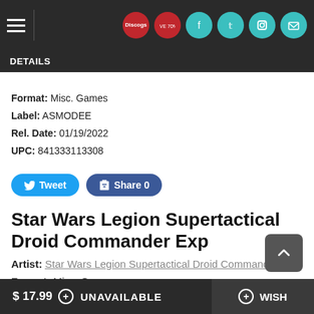Navigation bar with hamburger menu and social/icon links
DETAILS
Format: Misc. Games
Label: ASMODEE
Rel. Date: 01/19/2022
UPC: 841333113308
Tweet | Share 0
Star Wars Legion Supertactical Droid Commander Exp
Artist: Star Wars Legion Supertactical Droid Commander Exp
Format: Misc. Games
New: Not currently in stock
$ 17.99 + UNAVAILABLE | + WISH